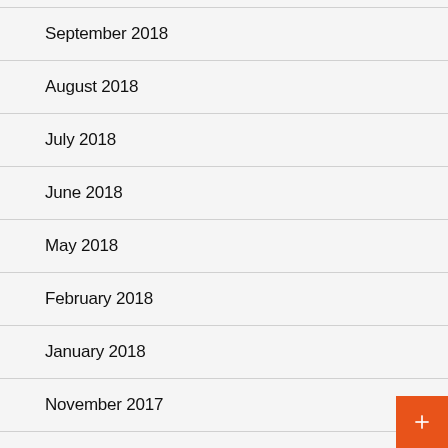October 2018
September 2018
August 2018
July 2018
June 2018
May 2018
February 2018
January 2018
November 2017
October 2017